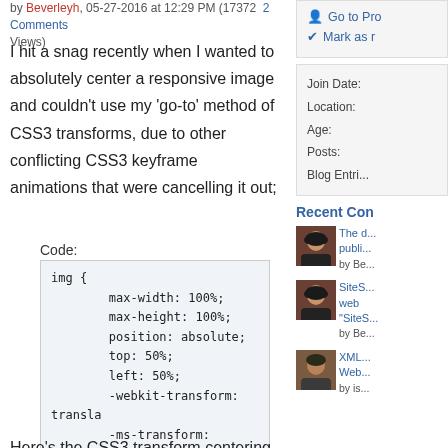by Beverleyh, 05-27-2016 at 12:29 PM (17372 Views) 2 Comments
I hit a snag recently when I wanted to absolutely center a responsive image and couldn't use my 'go-to' method of CSS3 transforms, due to other conflicting CSS3 keyframe animations that were cancelling it out;
Code:
img {
        max-width: 100%;
        max-height: 100%;
        position: absolute;
        top: 50%;
        left: 50%;
        -webkit-transform: translate(-50%,
        -ms-transform: translate(-
        transform: translate(-50%,
}
Here's the CSS3 transform centering
Go to Profile
Mark as...
Join Date:
Location:
Age:
Posts:
Blog Entries:
Recent Com...
The d... publi... by Be...
SiteS... web "SiteS... by Be...
XML... Web... by is...